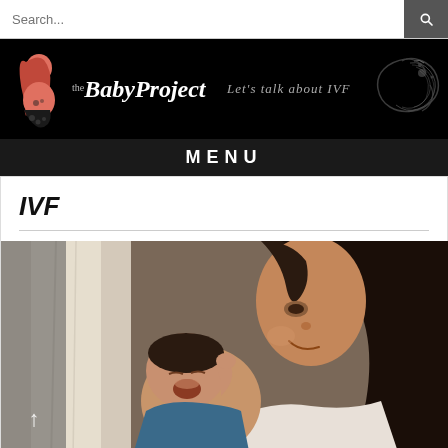Search...
[Figure (logo): The Baby Project logo with pregnant woman silhouette illustration and decorative ornament, on black background. Tagline: Let's talk about IVF]
MENU
IVF
[Figure (photo): A woman smiling and looking down at a yawning newborn baby dressed in a blue outfit. The photo has a warm, natural light tone.]